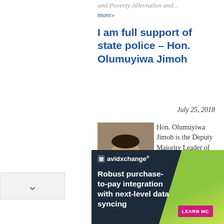and Poverty Alleviation and... more»
I am full support of state police – Hon. Olumuyiwa Jimoh
July 25, 2018
[Figure (photo): Portrait photo of Hon. Olumuyiwa Jimoh, a man in formal attire]
Hon. Olumuyiwa Jimoh is the Deputy Majority Leader of Lagos House of Assembly. He is in his second... more»
My encounters with MKO Abiola – Otedola
[Figure (other): Advertisement banner for avidxchange: Robust purchase-to-pay integration with next-level data syncing. LEARN MORE button.]